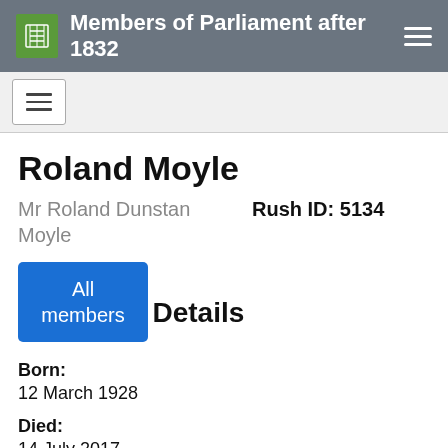Members of Parliament after 1832
Roland Moyle
Mr Roland Dunstan Moyle   Rush ID: 5134
All members
Details
Born:
12 March 1928
Died:
14 July 2017